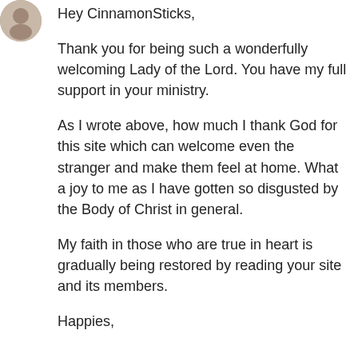[Figure (photo): Small circular avatar photo of a person in the top-left corner]
Hey CinnamonSticks,
Thank you for being such a wonderfully welcoming Lady of the Lord. You have my full support in your ministry.
As I wrote above, how much I thank God for this site which can welcome even the stranger and make them feel at home. What a joy to me as I have gotten so disgusted by the Body of Christ in general.
My faith in those who are true in heart is gradually being restored by reading your site and its members.
Happies,